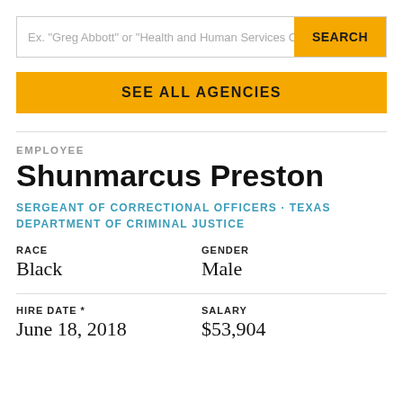Ex. "Greg Abbott" or "Health and Human Services C
SEARCH
SEE ALL AGENCIES
EMPLOYEE
Shunmarcus Preston
SERGEANT OF CORRECTIONAL OFFICERS · TEXAS DEPARTMENT OF CRIMINAL JUSTICE
| RACE | GENDER |
| --- | --- |
| Black | Male |
| HIRE DATE * | SALARY |
| --- | --- |
| June 18, 2018 | $53,904 |